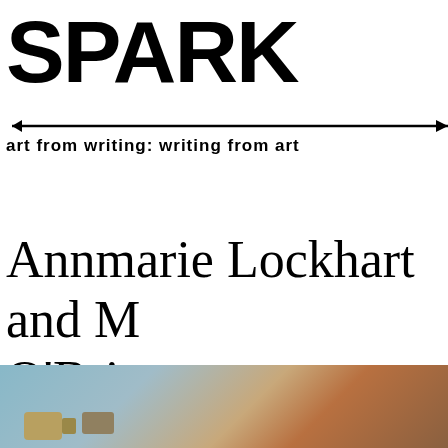SPARK
art from writing: writing from art
Annmarie Lockhart and M O'Brien
[Figure (photo): Urban street scene photograph showing camera or megaphone equipment mounted on a pole, with a brick building in the background, bluish sky tones]